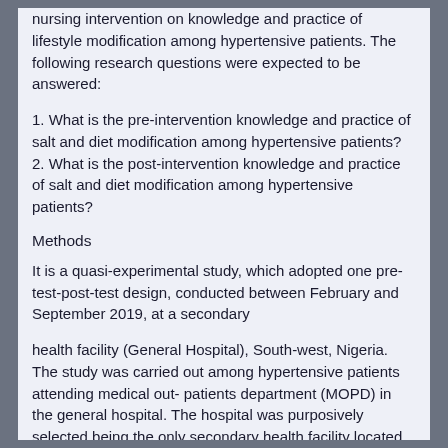nursing intervention on knowledge and practice of lifestyle modification among hypertensive patients. The following research questions were expected to be answered:
1. What is the pre-intervention knowledge and practice of salt and diet modification among hypertensive patients? 2. What is the post-intervention knowledge and practice of salt and diet modification among hypertensive patients?
Methods
It is a quasi-experimental study, which adopted one pre-test-post-test design, conducted between February and September 2019, at a secondary
health facility (General Hospital), South-west, Nigeria. The study was carried out among hypertensive patients attending medical out- patients department (MOPD) in the general hospital. The hospital was purposively selected being the only secondary health facility located in one of the densely populated communities in a major commercial city of South-west, Nigeria.
Sample size and sampling procedure: Sample size was